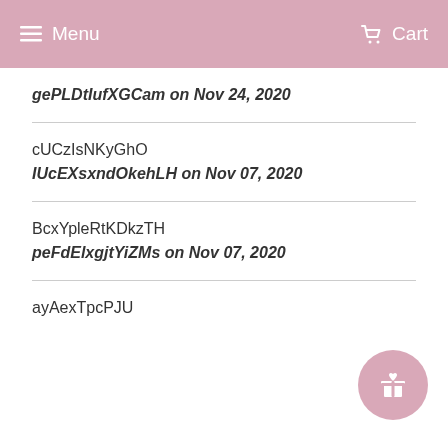Menu   Cart
gePLDtIufXGCam on Nov 24, 2020
cUCzIsNKyGhO
IUcEXsxndOkehLH on Nov 07, 2020
BcxYpleRtKDkzTH
peFdElxgjtYiZMs on Nov 07, 2020
ayAexTpcPJU